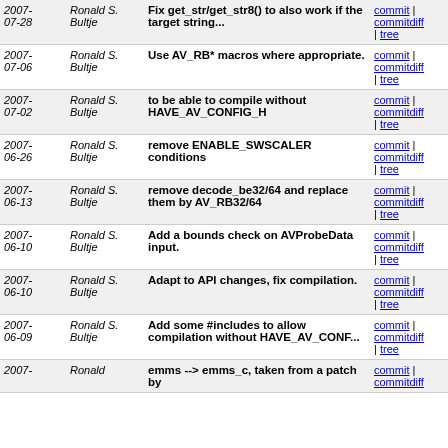| Date | Author | Message | Links |
| --- | --- | --- | --- |
| 2007-07-28 | Ronald S. Bultje | Fix get_str/get_str8() to also work if the target string... | commit | commitdiff | tree |
| 2007-07-06 | Ronald S. Bultje | Use AV_RB* macros where appropriate. | commit | commitdiff | tree |
| 2007-07-02 | Ronald S. Bultje | to be able to compile without HAVE_AV_CONFIG_H | commit | commitdiff | tree |
| 2007-06-26 | Ronald S. Bultje | remove ENABLE_SWSCALER conditions | commit | commitdiff | tree |
| 2007-06-13 | Ronald S. Bultje | remove decode_be32/64 and replace them by AV_RB32/64 | commit | commitdiff | tree |
| 2007-06-10 | Ronald S. Bultje | Add a bounds check on AVProbeData input. | commit | commitdiff | tree |
| 2007-06-10 | Ronald S. Bultje | Adapt to API changes, fix compilation. | commit | commitdiff | tree |
| 2007-06-09 | Ronald S. Bultje | Add some #includes to allow compilation without HAVE_AV_CONF... | commit | commitdiff | tree |
| 2007- | Ronald | emms --> emms_c, taken from a patch by | commit | commitdiff |